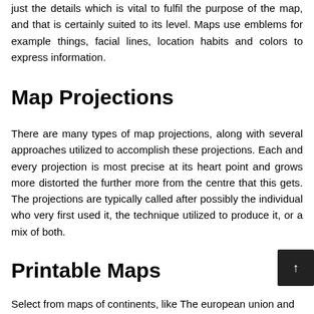just the details which is vital to fulfil the purpose of the map, and that is certainly suited to its level. Maps use emblems for example things, facial lines, location habits and colors to express information.
Map Projections
There are many types of map projections, along with several approaches utilized to accomplish these projections. Each and every projection is most precise at its heart point and grows more distorted the further more from the centre that this gets. The projections are typically called after possibly the individual who very first used it, the technique utilized to produce it, or a mix of both.
Printable Maps
Select from maps of continents, like The european union and